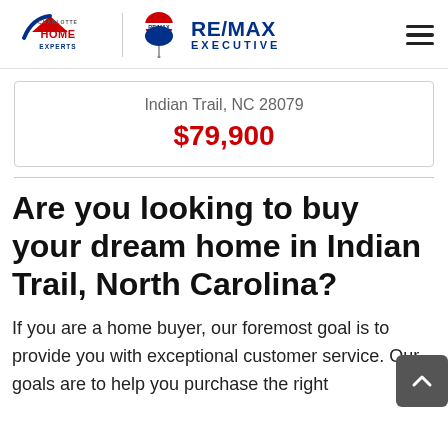[Figure (logo): Charlotte Home Experts and RE/MAX Executive logos with hamburger menu icon in header]
Indian Trail, NC 28079
$79,900
Are you looking to buy your dream home in Indian Trail, North Carolina?
If you are a home buyer, our foremost goal is to provide you with exceptional customer service. Our goals are to help you purchase the right